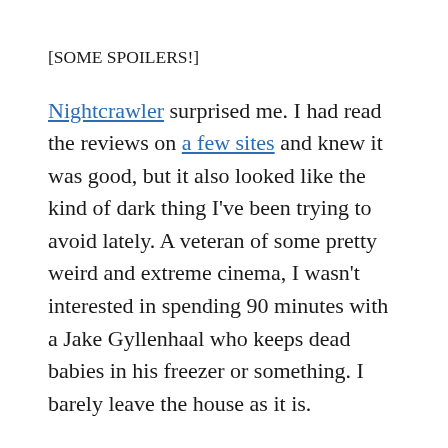[SOME SPOILERS!]
Nightcrawler surprised me. I had read the reviews on a few sites and knew it was good, but it also looked like the kind of dark thing I've been trying to avoid lately. A veteran of some pretty weird and extreme cinema, I wasn't interested in spending 90 minutes with a Jake Gyllenhaal who keeps dead babies in his freezer or something. I barely leave the house as it is.
But as I said, it surprised me. For one thing, although it explores the pathology of sociopaths, it wasn't as violent as I thought it